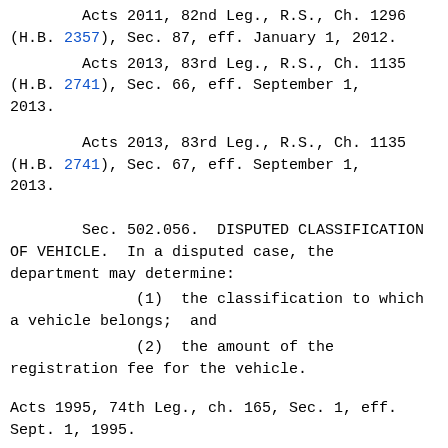Acts 2011, 82nd Leg., R.S., Ch. 1296 (H.B. 2357), Sec. 87, eff. January 1, 2012.
Acts 2013, 83rd Leg., R.S., Ch. 1135 (H.B. 2741), Sec. 66, eff. September 1, 2013.
Acts 2013, 83rd Leg., R.S., Ch. 1135 (H.B. 2741), Sec. 67, eff. September 1, 2013.
Sec. 502.056.  DISPUTED CLASSIFICATION OF VEHICLE.  In a disputed case, the department may determine:
(1)  the classification to which a vehicle belongs;  and
(2)  the amount of the registration fee for the vehicle.
Acts 1995, 74th Leg., ch. 165, Sec. 1, eff. Sept. 1, 1995.